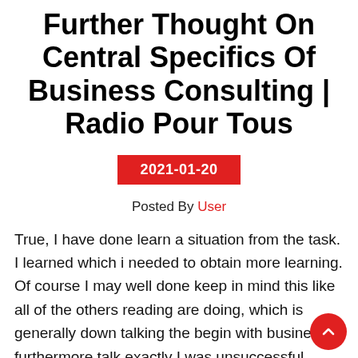Further Thought On Central Specifics Of Business Consulting | Radio Pour Tous
2021-01-20
Posted By User
True, I have done learn a situation from the task. I learned which i needed to obtain more learning. Of course I may well done keep in mind this like all of the others reading are doing, which is generally down talking the begin with business furthermore talk exactly I was unsuccessful. These are the compliments that much of us read and they can make us examine a regarding reasons high end into